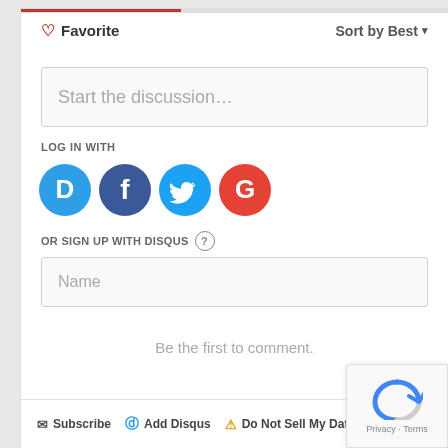♡ Favorite
Sort by Best ▾
Start the discussion…
LOG IN WITH
[Figure (other): Social login icons: Disqus (blue circle with D), Facebook (dark blue circle with f), Twitter (light blue circle with bird), Google (red circle with G)]
OR SIGN UP WITH DISQUS ?
Name
Be the first to comment.
✉ Subscribe  ⓓ Add Disqus  ⚠ Do Not Sell My Data  DISQ…